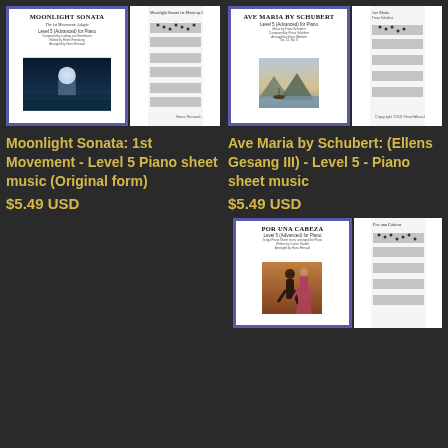[Figure (illustration): Product listing page showing sheet music covers. Top-left: Moonlight Sonata Level 5 Piano sheet music cover with moonlit scene and sheet music preview. Top-right: Ave Maria by Schubert Level 5 Piano sheet music cover with landscape painting and sheet music preview. Bottom-right: Por una Cabeza Level 5 Piano sheet music cover with tango dancers and sheet music preview.]
Moonlight Sonata: 1st Movement - Level 5 Piano sheet music (Original form)
$5.49 USD
Ave Maria by Schubert: (Ellens Gesang III) - Level 5 - Piano sheet music
$5.49 USD